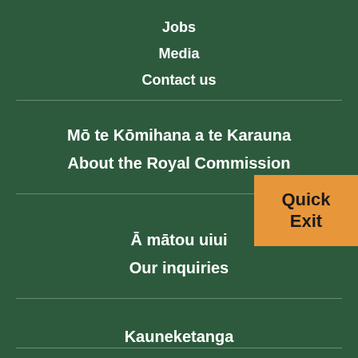Jobs
Media
Contact us
Mō te Kōmihana a te Karauna
About the Royal Commission
Ā mātou uiui
Our inquiries
Quick Exit
Kauneketanga
Our progress